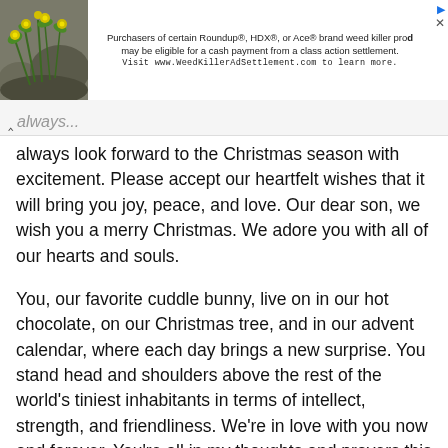[Figure (photo): Ad banner with a plant/flower photo on the left and text about Roundup weed killer class action settlement on the right]
always look forward to the Christmas season with excitement. Please accept our heartfelt wishes that it will bring you joy, peace, and love. Our dear son, we wish you a merry Christmas. We adore you with all of our hearts and souls.
You, our favorite cuddle bunny, live on in our hot chocolate, on our Christmas tree, and in our advent calendar, where each day brings a new surprise. You stand head and shoulders above the rest of the world's tiniest inhabitants in terms of intellect, strength, and friendliness. We're in love with you now and forever. You're all in my thoughts and prayers this Merry Christmas.